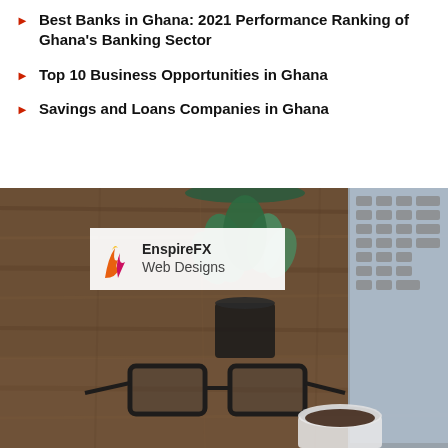Best Banks in Ghana: 2021 Performance Ranking of Ghana's Banking Sector
Top 10 Business Opportunities in Ghana
Savings and Loans Companies in Ghana
[Figure (photo): Desk scene with wooden surface, a potted succulent plant, glasses, a coffee cup, and a laptop keyboard. Overlaid with EnspireFX Web Designs logo.]